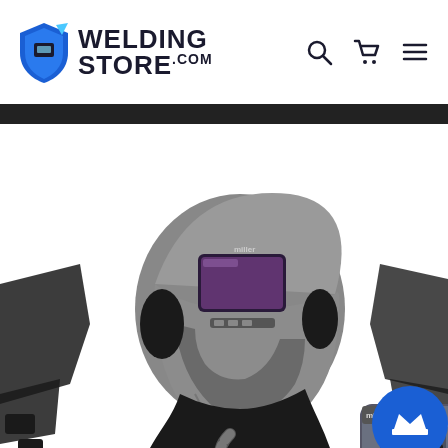[Figure (logo): WeldingStore.com logo with blue shield icon and bold uppercase text. Navigation icons for search, cart, and menu on the right.]
[Figure (photo): Miller welding helmet with auto-darkening lens and attached PAPR (powered air-purifying respirator) blower unit connected by flexible hose. Additional black side/bib pieces visible on edges. Blue circular crown badge in lower right corner.]